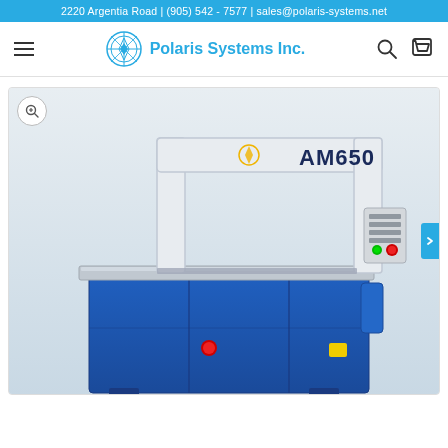2220 Argentia Road | (905) 542 - 7577 | sales@polaris-systems.net
[Figure (logo): Polaris Systems Inc. logo with compass rose icon and blue text]
[Figure (photo): AM650 strapping machine - a blue industrial automatic strapping machine with white arch frame, control panel with green and red buttons, and AM650 label on the upper right of the arch]